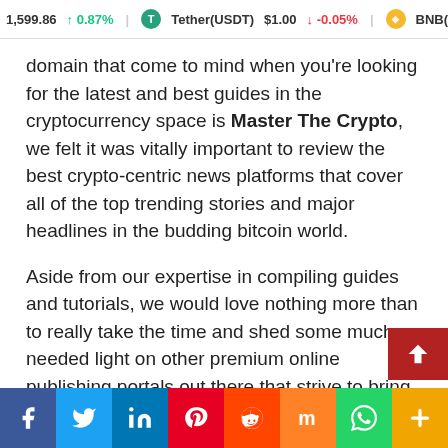1,599.86 ↑ 0.87% | Tether(USDT) $1.00 ↓ -0.05% | BNB(BNB)
domain that come to mind when you're looking for the latest and best guides in the cryptocurrency space is Master The Crypto, we felt it was vitally important to review the best crypto-centric news platforms that cover all of the top trending stories and major headlines in the budding bitcoin world.
Aside from our expertise in compiling guides and tutorials, we would love nothing more than to really take the time and shed some much needed light on other premium online publishing portals out there that strive to bring you the latest and best news from the emerging blockchain-based economy.